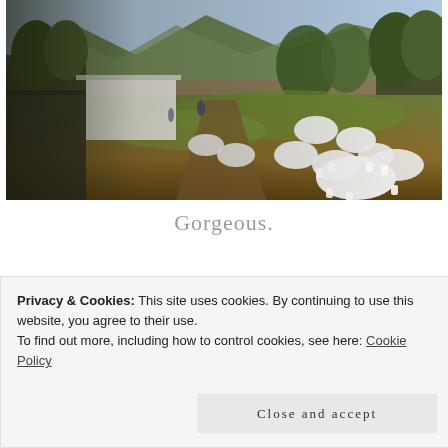[Figure (photo): Aerial/elevated view of an outdoor wedding reception on a lawn with green trees, mountains in background, white round tables with chairs set up on grass, warm sunny day]
Gorgeous.
[Figure (photo): Close-up dark brown/amber textured surface with diagonal bright lines, possibly a wooden or metallic surface with light reflections]
Privacy & Cookies: This site uses cookies. By continuing to use this website, you agree to their use.
To find out more, including how to control cookies, see here: Cookie Policy
Close and accept